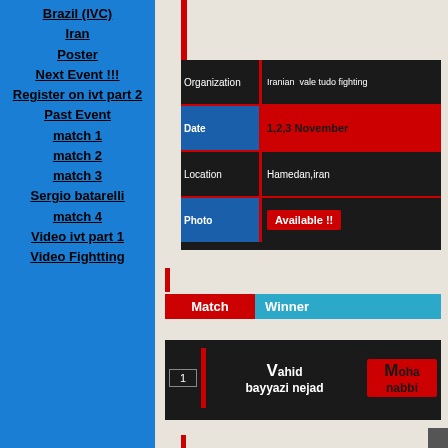Brazil (IVC)
Iran
Poster
Next Event !!!
Register on ivt part 2
Past Event
match 1
match 2
match 3
Sergio batarelli
match 4
Video ivt part 1
Video Fightting
| Organization | Iranian vale tudo fighting |
| --- | --- |
| Date | 1,2,3 November |
| Location | Hamedan,iran |
| Photo | Available !! |
| Match | Winner |
| --- | --- |
| 1 | Vahid bayyazi nejad | Mohammad nabbi |